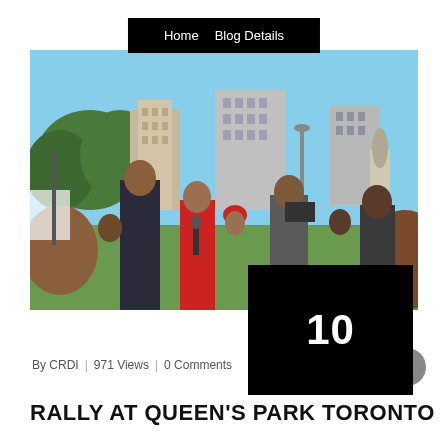Home   Blog Details
[Figure (photo): Outdoor rally scene at Queen's Park Toronto. A crowd of people gathered in a park with tall city buildings and trees in the background. A woman in a red outfit is being interviewed by someone with a camera. A statue is visible in the background on the right.]
10
By CRDI  |  971 Views  |  0 Comments
RALLY AT QUEEN'S PARK TORONTO